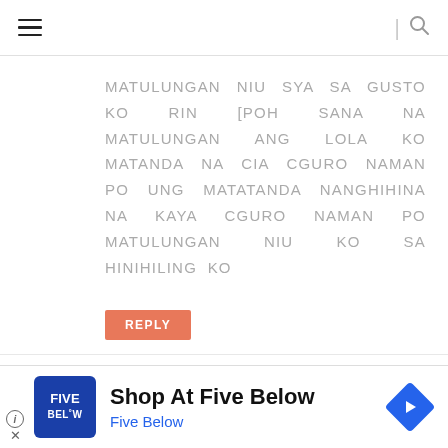Navigation header with hamburger menu and search icon
MATULUNGAN NIU SYA SA GUSTO KO RIN [POH SANA NA MATULUNGAN ANG LOLA KO MATANDA NA CIA CGURO NAMAN PO UNG MATATANDA NANGHIHINA NA KAYA CGURO NAMAN PO MATULUNGAN NIU KO SA HINIHILING KO
REPLY
michelle manabat
[Figure (infographic): Advertisement banner for Five Below store with blue logo, text 'Shop At Five Below', 'Five Below' in blue, and a blue direction arrow icon on the right.]